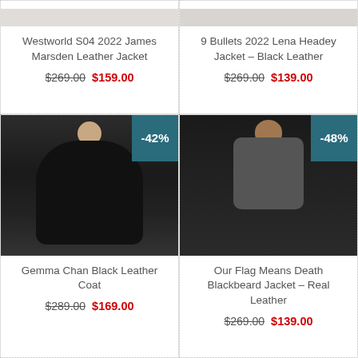[Figure (photo): Partial product image top of card - Westworld S04 2022 James Marsden Leather Jacket]
Westworld S04 2022 James Marsden Leather Jacket
$269.00  $159.00
[Figure (photo): Partial product image top of card - 9 Bullets 2022 Lena Headey Jacket Black Leather]
9 Bullets 2022 Lena Headey Jacket – Black Leather
$269.00  $139.00
[Figure (photo): Gemma Chan wearing a black leather coat, discount badge -42%]
Gemma Chan Black Leather Coat
$289.00  $169.00
[Figure (photo): Our Flag Means Death Blackbeard character in leather jacket, discount badge -48%]
Our Flag Means Death Blackbeard Jacket – Real Leather
$269.00  $139.00